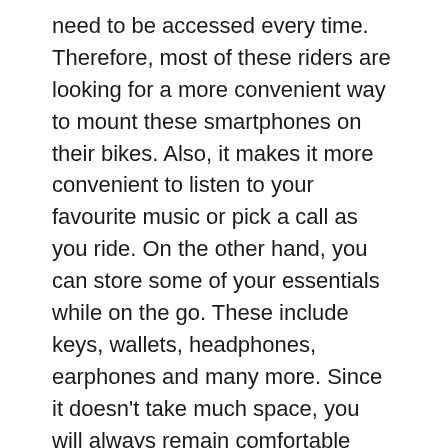need to be accessed every time. Therefore, most of these riders are looking for a more convenient way to mount these smartphones on their bikes. Also, it makes it more convenient to listen to your favourite music or pick a call as you ride. On the other hand, you can store some of your essentials while on the go. These include keys, wallets, headphones, earphones and many more. Since it doesn't take much space, you will always remain comfortable while riding.
Now, when it comes to phone mounting solutions, there are a lot of brands to choose from. Settling on one particular model can be so hard and confusing given that there are so many confusing brands out there in the market. With this, we have made your work easier by coming up with a list of the best